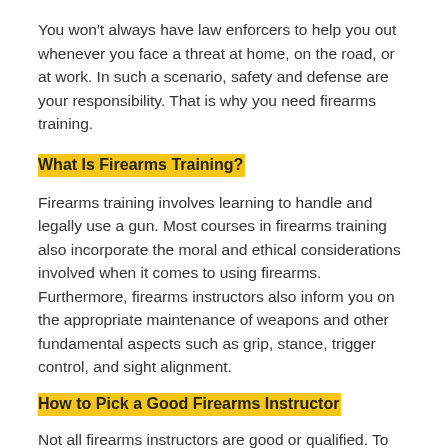You won't always have law enforcers to help you out whenever you face a threat at home, on the road, or at work. In such a scenario, safety and defense are your responsibility. That is why you need firearms training.
What Is Firearms Training?
Firearms training involves learning to handle and legally use a gun. Most courses in firearms training also incorporate the moral and ethical considerations involved when it comes to using firearms. Furthermore, firearms instructors also inform you on the appropriate maintenance of weapons and other fundamental aspects such as grip, stance, trigger control, and sight alignment.
How to Pick a Good Firearms Instructor
Not all firearms instructors are good or qualified. To find the best, look out for the following: